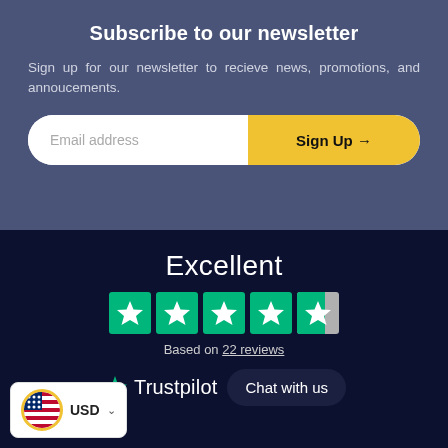Subscribe to our newsletter
Sign up for our newsletter to recieve news, promotions, and annoucements.
[Figure (screenshot): Email address input field with Sign Up button]
Excellent
[Figure (other): Trustpilot 4.5 star rating — 5 green star boxes with last one half-filled]
Based on 22 reviews
[Figure (logo): Trustpilot star logo with text 'Trustpilot' and 'Chat with us' button]
[Figure (other): US flag currency selector showing USD with dropdown chevron, highlighted with yellow circle]